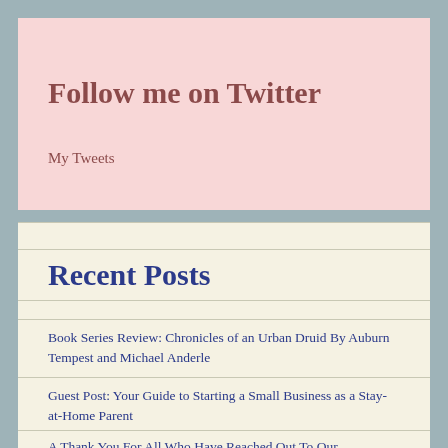Follow me on Twitter
My Tweets
Recent Posts
Book Series Review: Chronicles of an Urban Druid By Auburn Tempest and Michael Anderle
Guest Post: Your Guide to Starting a Small Business as a Stay-at-Home Parent
A Thank You For All Who Have Reached Out To Our